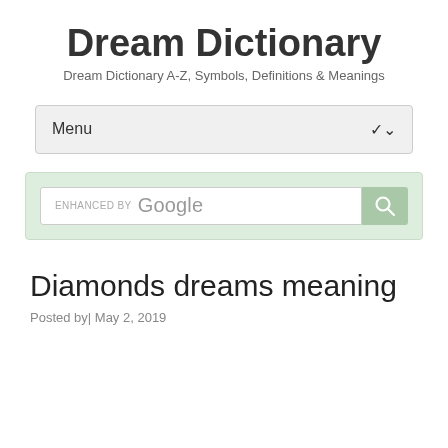Dream Dictionary
Dream Dictionary A-Z, Symbols, Definitions & Meanings
[Figure (screenshot): Navigation menu bar with 'Menu' label and dropdown chevron arrow]
[Figure (screenshot): Search bar with 'enhanced by Google' text and a green search button with magnifying glass icon, on a light green background]
Diamonds dreams meaning
Posted by| May 2, 2019